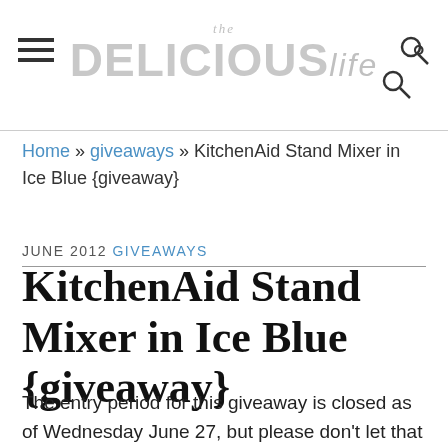the DELICIOUS life
Home » giveaways » KitchenAid Stand Mixer in Ice Blue {giveaway}
JUNE 2012 GIVEAWAYS
KitchenAid Stand Mixer in Ice Blue {giveaway}
The entry period for this giveaway is closed as of Wednesday June 27, but please don't let that stop you from leaving a comment about what